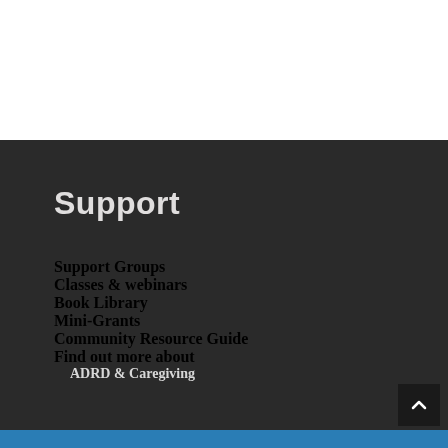Support
Support Groups
Classes & webinars
Book Library
Mini-Grants
Community Resource Guide
Find out more about
ADRD & Caregiving